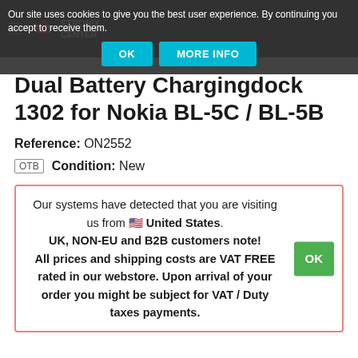Etronix Center website header with hamburger menu and logo
Our site uses cookies to give you the best user experience. By continuing you accept to receive them.
OK | MORE INFO
Dual Battery Chargingdock 1302 for Nokia BL-5C / BL-5B
Reference: ON2552
OTB  Condition: New
Our systems have detected that you are visiting us from 🇺🇸 United States. UK, NON-EU and B2B customers note! All prices and shipping costs are VAT FREE rated in our webstore. Upon arrival of your order you might be subject for VAT / Duty taxes payments.